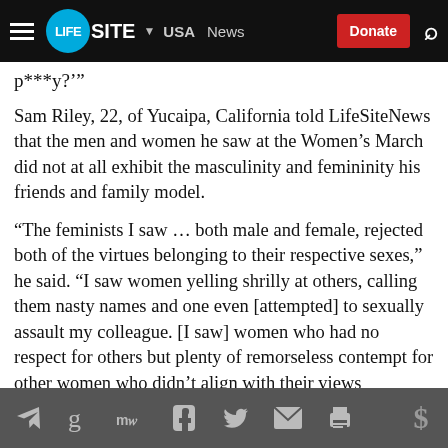LifeSite — USA News — Donate
p***y?'"
Sam Riley, 22, of Yucaipa, California told LifeSiteNews that the men and women he saw at the Women's March did not at all exhibit the masculinity and femininity his friends and family model.
“The feminists I saw … both male and female, rejected both of the virtues belonging to their respective sexes,” he said. “I saw women yelling shrilly at others, calling them nasty names and one even [attempted] to sexually assault my colleague. [I saw] women who had no respect for others but plenty of remorseless contempt for other women who didn’t align with their views absolutely. Many had no compassion for the
Social share icons: Telegram, Google, MeWe, Facebook, Twitter, Email, Print, Donate